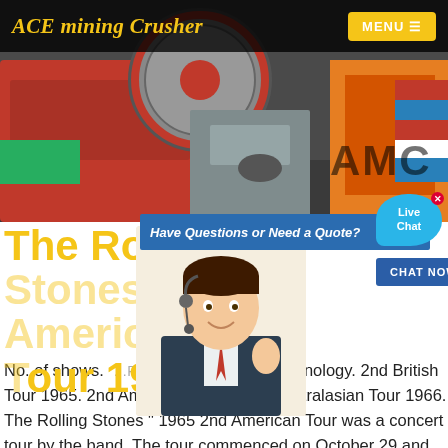ACE mining Crusher  MENU
[Figure (photo): Industrial mining crusher machinery photo with red and orange equipment, AMC logo visible on right side.]
The Rolling Stones 2nd American Tour 1965
Have Questions or Need a Quote?
CHAT NOW
Live Chat
No. of shows.  …Rolling Stones concert chronology. 2nd British Tour 1965. 2nd American Tour 1965. Australasian Tour 1966. The Rolling Stones " 1965 2nd American Tour was a concert tour by the band. The tour commenced on October 29 and concluded on December 5, 1965. On this tour, the band supported their album Out of Our Heads .